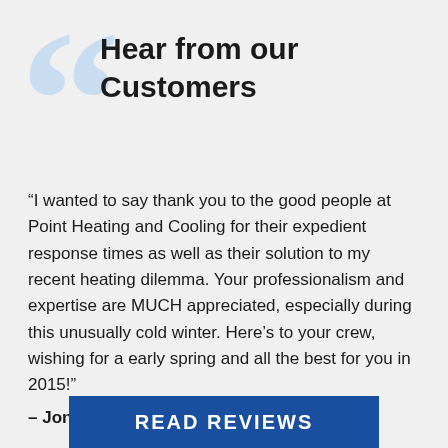Hear from our Customers
“I wanted to say thank you to the good people at Point Heating and Cooling for their expedient response times as well as their solution to my recent heating dilemma. Your professionalism and expertise are MUCH appreciated, especially during this unusually cold winter. Here’s to your crew, wishing for a early spring and all the best for you in 2015!”
– Jon S.
READ REVIEWS